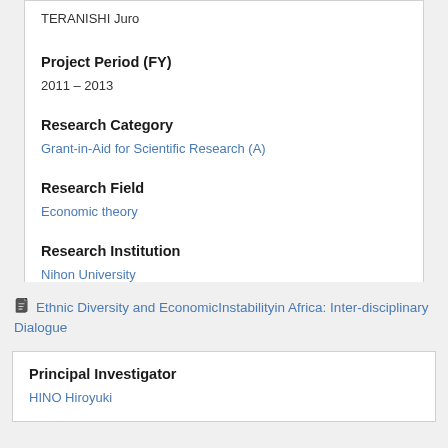TERANISHI Juro
Project Period (FY)
2011 – 2013
Research Category
Grant-in-Aid for Scientific Research (A)
Research Field
Economic theory
Research Institution
Nihon University
Ethnic Diversity and EconomicInstabilityin Africa: Inter-disciplinary Dialogue
Principal Investigator
HINO Hiroyuki